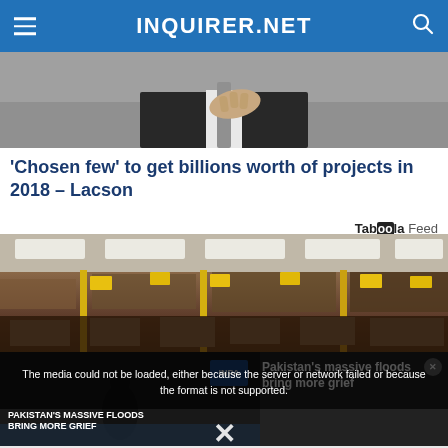INQUIRER.NET
[Figure (photo): Close-up of a man in a suit adjusting his tie]
'Chosen few' to get billions worth of projects in 2018 – Lacson
Taboola Feed
[Figure (photo): Interior of a store with shelves and yellow display poles]
[Figure (photo): Pakistan's massive floods video with media error overlay and headline: Pakistan's massive floods bring more grief]
The media could not be loaded, either because the server or network failed or because the format is not supported.
PAKISTAN'S MASSIVE FLOODS BRING MORE GRIEF